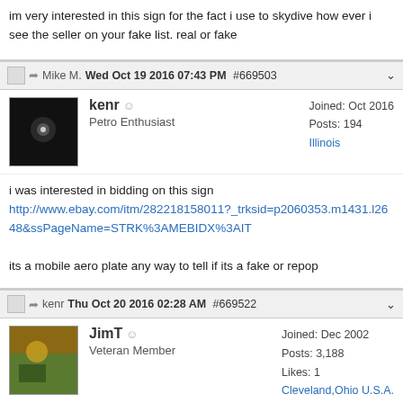im very interested in this sign for the fact i use to skydive how ever i see the seller on your fake list. real or fake
Mike M.  Wed Oct 19 2016 07:43 PM  #669503
kenr
Petro Enthusiast
Joined: Oct 2016
Posts: 194
Illinois
i was interested in bidding on this sign http://www.ebay.com/itm/282218158011?_trksid=p2060353.m1431.l2648&ssPageName=STRK%3AMEBIDX%3AIT

its a mobile aero plate any way to tell if its a fake or repop
kenr  Thu Oct 20 2016 02:28 AM  #669522
JimT
Veteran Member
Joined: Dec 2002
Posts: 3,188
Likes: 1
Cleveland,Ohio U.S.A.